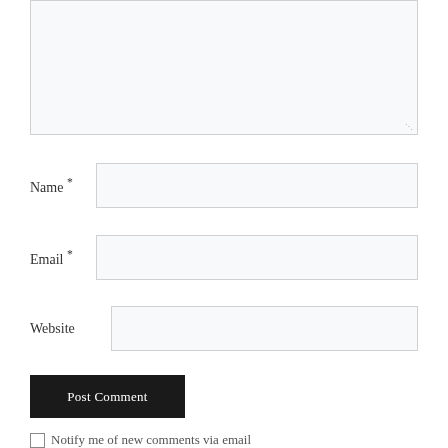[Figure (screenshot): A comment form textarea (large empty input box) at the top of the page]
Name *
Email *
Website
Post Comment
Notify me of new comments via email